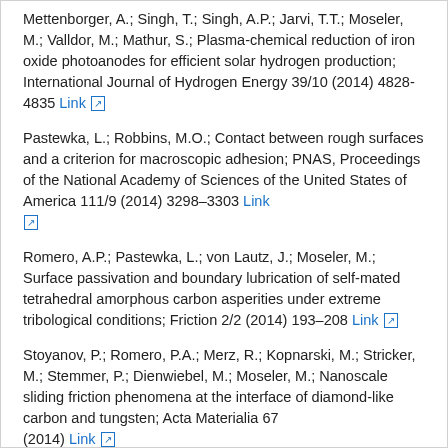Mettenborger, A.; Singh, T.; Singh, A.P.; Jarvi, T.T.; Moseler, M.; Valldor, M.; Mathur, S.; Plasma-chemical reduction of iron oxide photoanodes for efficient solar hydrogen production; International Journal of Hydrogen Energy 39/10 (2014) 4828-4835 Link
Pastewka, L.; Robbins, M.O.; Contact between rough surfaces and a criterion for macroscopic adhesion; PNAS, Proceedings of the National Academy of Sciences of the United States of America 111/9 (2014) 3298–3303 Link
Romero, A.P.; Pastewka, L.; von Lautz, J.; Moseler, M.; Surface passivation and boundary lubrication of self-mated tetrahedral amorphous carbon asperities under extreme tribological conditions; Friction 2/2 (2014) 193–208 Link
Stoyanov, P.; Romero, P.A.; Merz, R.; Kopnarski, M.; Stricker, M.; Stemmer, P.; Dienwiebel, M.; Moseler, M.; Nanoscale sliding friction phenomena at the interface of diamond-like carbon and tungsten; Acta Materialia 67 (2014) Link